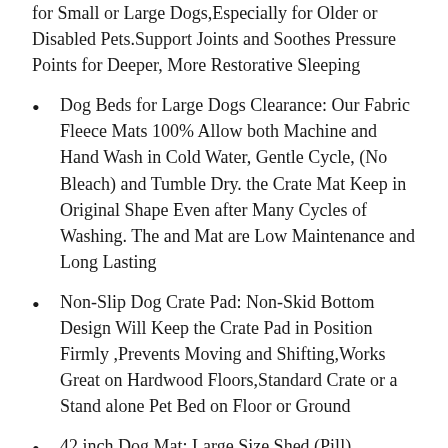for Small or Large Dogs,Especially for Older or Disabled Pets.Support Joints and Soothes Pressure Points for Deeper, More Restorative Sleeping
Dog Beds for Large Dogs Clearance: Our Fabric Fleece Mats 100% Allow both Machine and Hand Wash in Cold Water, Gentle Cycle, (No Bleach) and Tumble Dry. the Crate Mat Keep in Original Shape Even after Many Cycles of Washing. The and Mat are Low Maintenance and Long Lasting
Non-Slip Dog Crate Pad: Non-Skid Bottom Design Will Keep the Crate Pad in Position Firmly ,Prevents Moving and Shifting,Works Great on Hardwood Floors,Standard Crate or a Stand alone Pet Bed on Floor or Ground
42 inch Dog Mat: Large Size,Shed (Pill) Restraints,Stylish in-Seam,Give Your Pet A Greater Sense of Security,Protect Funiture & Beds,Cool in Summer and Keep Warm Especially in Winter or Cold